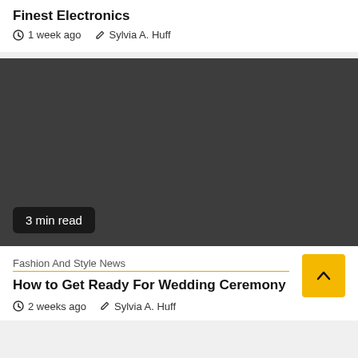Finest Electronics
1 week ago   Sylvia A. Huff
[Figure (photo): Dark gray placeholder image for article with '3 min read' badge in bottom left]
Fashion And Style News
How to Get Ready For Wedding Ceremony
2 weeks ago   Sylvia A. Huff